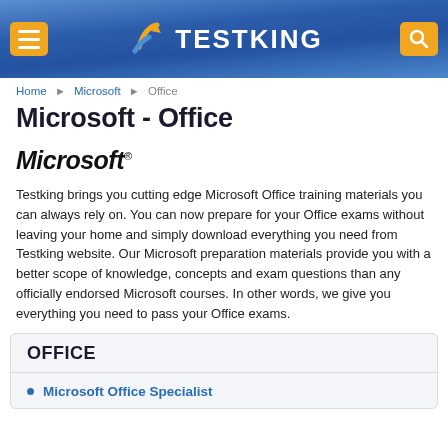TESTKING
Home > Microsoft > Office
Microsoft - Office
[Figure (logo): Microsoft logo in bold italic black text with registered trademark symbol]
Testking brings you cutting edge Microsoft Office training materials you can always rely on. You can now prepare for your Office exams without leaving your home and simply download everything you need from Testking website. Our Microsoft preparation materials provide you with a better scope of knowledge, concepts and exam questions than any officially endorsed Microsoft courses. In other words, we give you everything you need to pass your Office exams.
OFFICE
Microsoft Office Specialist